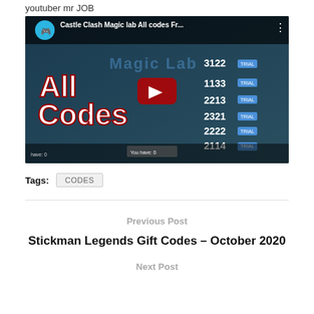youtuber mr JOB
[Figure (screenshot): YouTube video embed showing 'Castle Clash Magic lab All codes Fr...' with channel icon, play button overlay, and game screenshot background showing codes 3122, 1133, 2213, 2321, 2222, 2114]
Tags: CODES
Previous Post
Stickman Legends Gift Codes – October 2020
Next Post